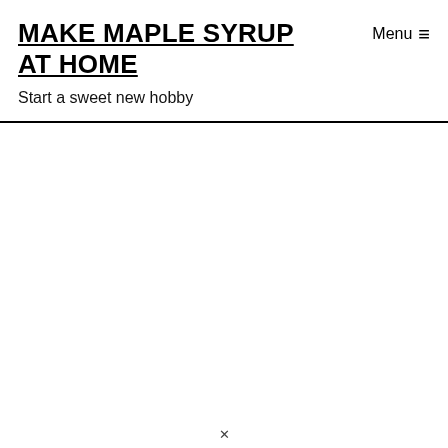MAKE MAPLE SYRUP AT HOME
Menu ≡
Start a sweet new hobby